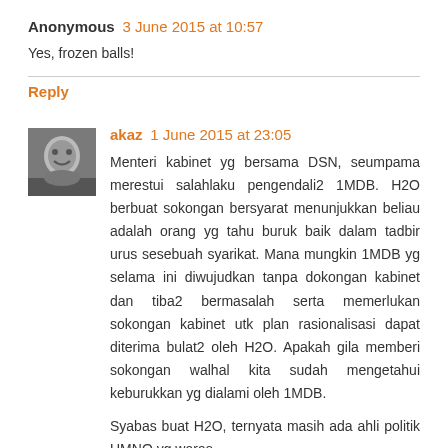Anonymous 3 June 2015 at 10:57
Yes, frozen balls!
Reply
akaz 1 June 2015 at 23:05
Menteri kabinet yg bersama DSN, seumpama merestui salahlaku pengendali2 1MDB. H2O berbuat sokongan bersyarat menunjukkan beliau adalah orang yg tahu buruk baik dalam tadbir urus sesebuah syarikat. Mana mungkin 1MDB yg selama ini diwujudkan tanpa dokongan kabinet dan tiba2 bermasalah serta memerlukan sokongan kabinet utk plan rasionalisasi dapat diterima bulat2 oleh H2O. Apakah gila memberi sokongan walhal kita sudah mengetahui keburukkan yg dialami oleh 1MDB.
Syabas buat H2O, ternyata masih ada ahli politik UMNO yg waras.